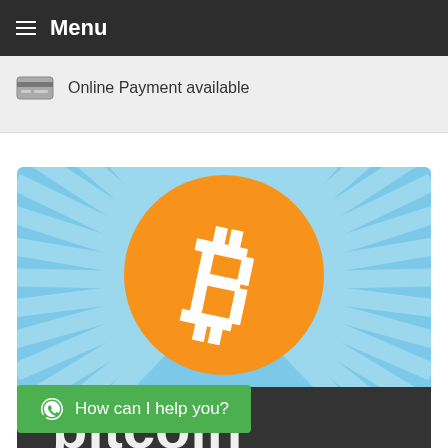Menu
Online Payment available
[Figure (illustration): Bitcoin logo illustration with orange circle containing white Bitcoin 'B' symbol with two vertical lines at top, set against a light blue starburst/ray background. Lower portion shows dark banner with partial 'bitcoin' text. A green WhatsApp button overlay reads 'How can I help you?']